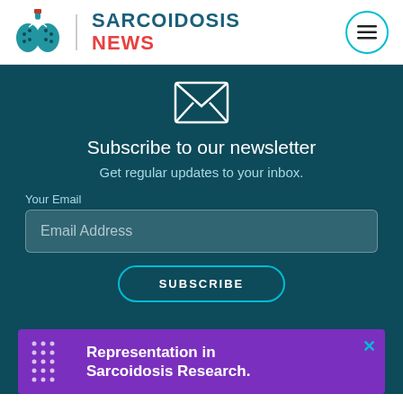[Figure (logo): Sarcoidosis News logo with stylized lungs icon and text SARCOIDOSIS NEWS in blue and red]
Subscribe to our newsletter
Get regular updates to your inbox.
Your Email
Email Address
SUBSCRIBE
[Figure (infographic): Purple advertisement banner: Representation in Sarcoidosis Research.]
US Sarcoidosis Find...